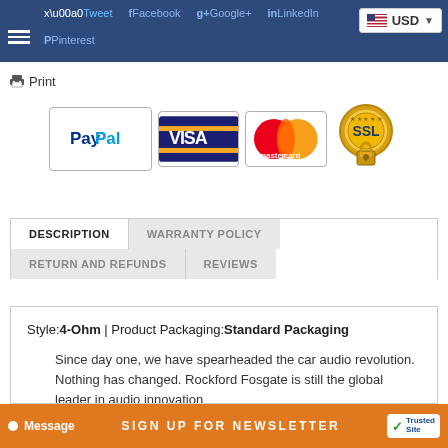Tweet  Facebook  Google+  LinkedIn  Pinterest  USD
Print
[Figure (other): Payment logos: PayPal, Visa, MasterCard, SSL secure badge]
DESCRIPTION | WARRANTY POLICY | RETURN AND REFUNDS | REVIEWS
Style:4-Ohm | Product Packaging:Standard Packaging
Since day one, we have spearheaded the car audio revolution. Nothing has changed. Rockford Fosgate is still the global leader in audio innovation
Message  SIGN UP FOR NEWSLETTER  TrustedSite